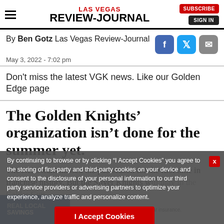LAS VEGAS REVIEW-JOURNAL
By Ben Gotz Las Vegas Review-Journal
May 3, 2022 - 7:02 pm
Don't miss the latest VGK news. Like our Golden Edge page
The Golden Knights’ organization isn’t done for the summer yet.
The NHL team missed the postseason for the first time in franchise history. But the Silver Knights will play in the Calder Cup
By continuing to browse or by clicking “I Accept Cookies” you agree to the storing of first-party and third-party cookies on your device and consent to the disclosure of your personal information to our third party service providers or advertising partners to optimize your experience, analyze traffic and personalize content.